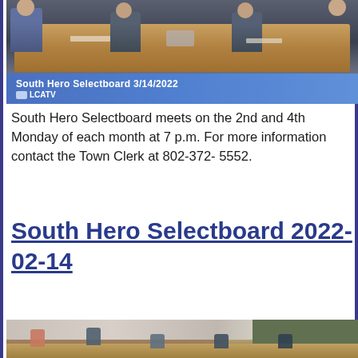[Figure (photo): Screenshot of South Hero Selectboard meeting on 3/14/2022 broadcast on LCATV, showing people seated around a conference table with blue lower-third graphic.]
South Hero Selectboard meets on the 2nd and 4th Monday of each month at 7 p.m. For more information contact the Town Clerk at 802-372-5552.
South Hero Selectboard 2022-02-14
[Figure (photo): Photo of South Hero Selectboard meeting on 2022-02-14, showing people seated around tables in a room with green chalkboard on right wall.]